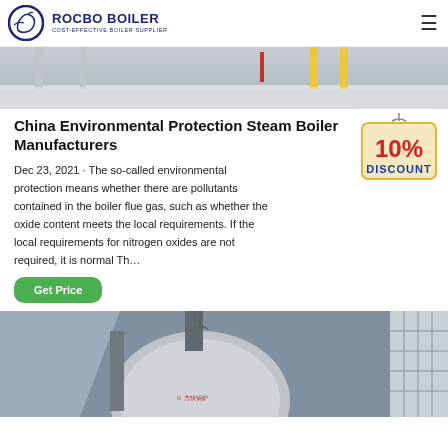ROCBO BOILER - COST-EFFECTIVE BOILER SUPPLIER
[Figure (photo): Industrial boiler room interior, top portion cropped]
China Environmental Protection Steam Boiler Manufacturers
Dec 23, 2021 · The so-called environmental protection means whether there are pollutants contained in the boiler flue gas, such as whether the oxide content meets the local requirements. If the local requirements for nitrogen oxides are not required, it is normal Th…
[Figure (infographic): 10% DISCOUNT hanging badge]
Get Price
[Figure (photo): Industrial steam boiler equipment in factory setting, bottom portion]